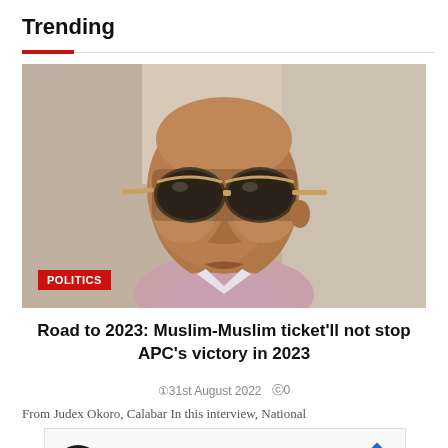Trending
[Figure (photo): Close-up photo of a man wearing aviator sunglasses with a POLITICS badge overlay in the lower left corner]
Road to 2023: Muslim-Muslim ticket'll not stop APC's victory in 2023
31st August 2022  0
From Judex Okoro, Calabar In this interview, National
[Figure (other): Advertisement: Firestone Tire Offer - Virginia Tire & Auto of Ashburn]